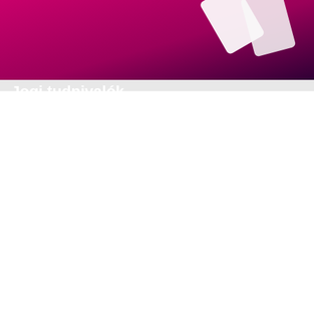[Figure (photo): Top banner image with dark magenta/pink background showing playing cards, a decorative overlay scene]
Jogi tudnivalók
Weboldalunkon sütiket használunk abból a célból, hogy annak tartalmát testreszabhassuk, látogatottságát elemezhessük és hogy közösségi média funkciókat nyújthassunk látogatóink számára. Közösségi média, hirdetési és analitikai partnereinkkel megosztjuk, hogy hogyan használod a weboldalunkat. A Sütikre vonatkozó beállításokat módosíthatod, azokat letilthatod, az erre vonatkozó információt a Süti tájékoztatóban olvashatod. Amennyiben hozzájárulsz ahhoz, hogy sütiket alkalmazunk, lépj tovább az oldalunkra.
OK